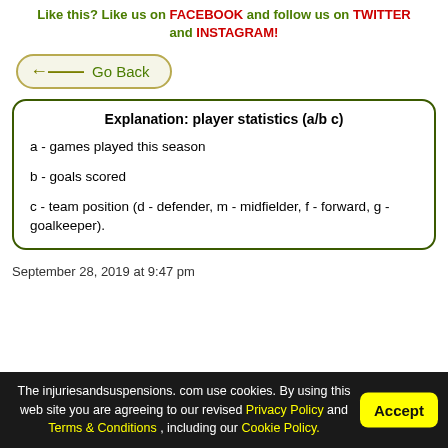Like this? Like us on FACEBOOK and follow us on TWITTER and INSTAGRAM!
[Figure (other): Go Back navigation button with arrow]
Explanation: player statistics (a/b c)
a - games played this season
b - goals scored
c - team position (d - defender, m - midfielder, f - forward, g - goalkeeper).
September 28, 2019 at 9:47 pm
The injuriesandsuspensions. com use cookies. By using this web site you are agreeing to our revised Privacy Policy and Terms & Conditions , including our Cookie Policy.